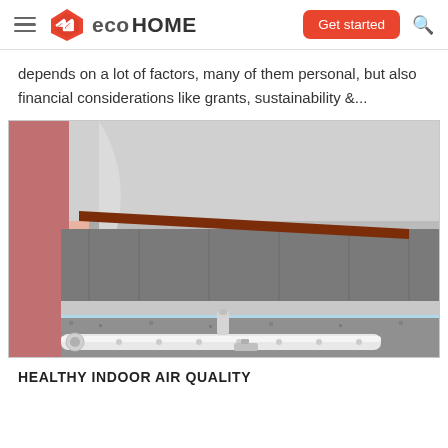eco HOME  |  Get started
depends on a lot of factors, many of them personal, but also financial considerations like grants, sustainability &...
[Figure (engineering-diagram): 3D cross-section diagram showing a floor construction detail with radiant floor heating pipes, insulation layers, concrete screed, and wall junction. Components include perforated pipes, vapor barrier, and wooden floor elements.]
HEALTHY INDOOR AIR QUALITY